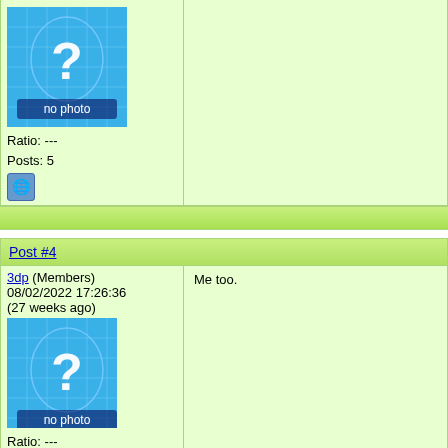Ratio: ---
Posts: 5
Post #4
3dp (Members)
08/02/2022 17:26:36
(27 weeks ago)
Ratio: ---
Posts: 1
Me too.